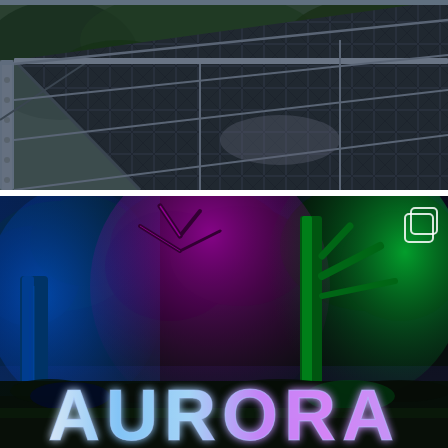[Figure (photo): Overhead view of a glass walkway or bridge with metal framing, bolts, and a textured steel grating surface. Lush green trees are visible below through the glass. The structure has X-pattern supports and a railing along the left side.]
[Figure (photo): Nighttime garden scene with colorful uplighting on trees: a blue-lit palm trunk on the left, a magenta/purple-lit tree in the center background, and a green-lit tall tree on the right. In the foreground, large glowing letters spell 'AURORA' in a rainbow gradient (white to blue to purple). A small white square icon (copy/expand) is visible in the upper right corner of the image.]